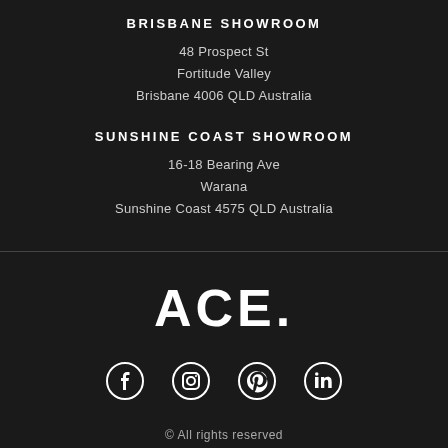BRISBANE SHOWROOM
48 Prospect St
Fortitude Valley
Brisbane 4006 QLD Australia
SUNSHINE COAST SHOWROOM
16-18 Bearing Ave
Warana
Sunshine Coast 4575 QLD Australia
[Figure (logo): ACE. logo in large bold white text]
[Figure (infographic): Social media icons: Facebook, Instagram, Pinterest, LinkedIn]
© All rights reserved